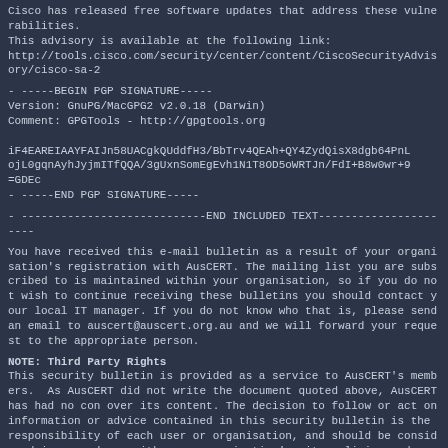Cisco has released free software updates that address these vulnerabilities. This advisory is available at the following link:
http://tools.cisco.com/security/center/content/CiscoSecurityAdvisory/cisco-sa-2
- -----BEGIN PGP SIGNATURE-----
Version: GnuPG/MacGPG2 v2.0.18 (Darwin)
Comment: GPGTools - http://gpgtools.org

iF4EAREIAAYFAIJn58UACgkQUddfH3/BbTrv4QEAh+QY4ZydQisX8dgb64PnL
ojL0gqnAyhJyjmITfQQA/3gUxnSomEgEvh1N1T8OD5oWRTJn/FdI+B8w0wr+9
=GDEc
- -----END PGP SIGNATURE-----
- ----------------------------END INCLUDED TEXT----------------------
You have received this e-mail bulletin as a result of your organisation's registration with AusCERT. The mailing list you are subscribed to is maintained within your organisation, so if you do not wish to continue receiving these bulletins you should contact your local IT manager. If you do not know who that is, please send an email to auscert@auscert.org.au and we will forward your request to the appropriate person.
NOTE: Third Party Rights
This security bulletin is provided as a service to AusCERT's members.  As AusCERT did not write the document quoted above, AusCERT has had no con over its content. The decision to follow or act on information or advice contained in this security bulletin is the responsibility of each user or organisation, and should be considered in accordance with your organisation's site policies and procedures. AusCERT takes no responsibility for consequence which may arise from following or acting on information or advice contained in this security bulletin.
NOTE: This is only the original release of the security bulletin.  It may